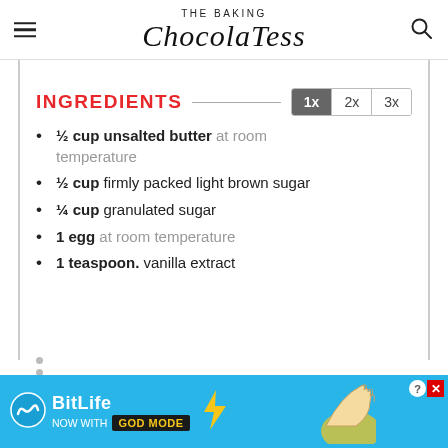THE BAKING ChocolaTess
INGREDIENTS
½ cup unsalted butter at room temperature
½ cup firmly packed light brown sugar
¼ cup granulated sugar
1 egg at room temperature
1 teaspoon. vanilla extract
[Figure (screenshot): BitLife advertisement banner: 'NOW WITH GOD MODE' with illustrated hand pointing, on a blue background.]